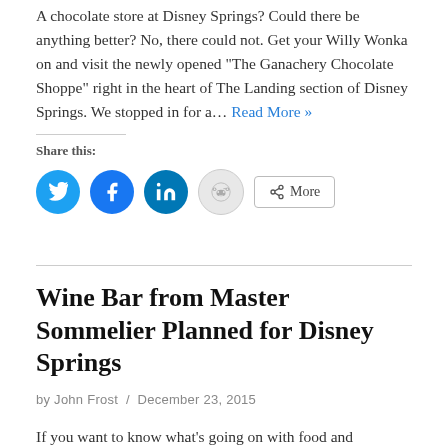A chocolate store at Disney Springs? Could there be anything better? No, there could not. Get your Willy Wonka on and visit the newly opened “The Ganachery Chocolate Shoppe” right in the heart of The Landing section of Disney Springs. We stopped in for a… Read More »
Share this:
[Figure (infographic): Social share buttons: Twitter (blue circle), Facebook (blue circle), LinkedIn (blue circle), Reddit (light circle), and a More button]
Wine Bar from Master Sommelier Planned for Disney Springs
by John Frost / December 23, 2015
If you want to know what’s going on with food and